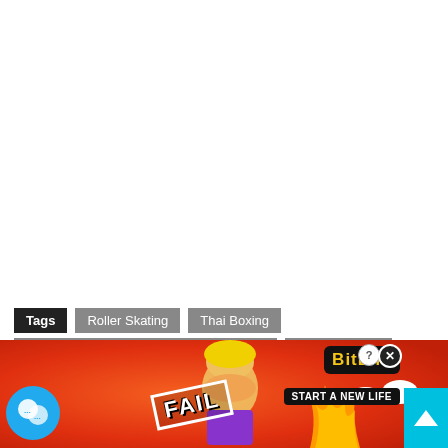Tags | Roller Skating | Thai Boxing
Three Fun New Sports To Try This Spring | Zumba games
[Figure (screenshot): BitLife advertisement banner with 'FAIL' text, animated character, fire/flames, BitLife logo and 'START A NEW LIFE' tagline on red/orange background]